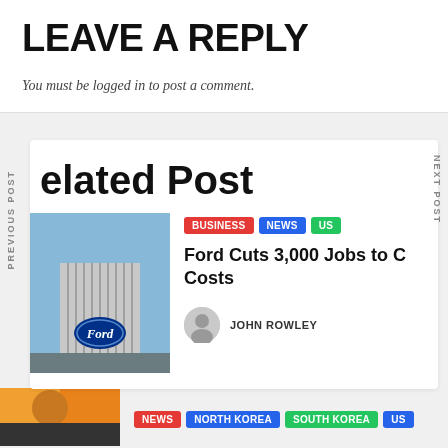LEAVE A REPLY
You must be logged in to post a comment.
Related Post
[Figure (photo): Ford building exterior with Ford logo sign]
BUSINESS NEWS US
Ford Cuts 3,000 Jobs to Cut Costs
JOHN ROWLEY
[Figure (photo): Partially visible bottom card image]
NEWS NORTH KOREA SOUTH KOREA US